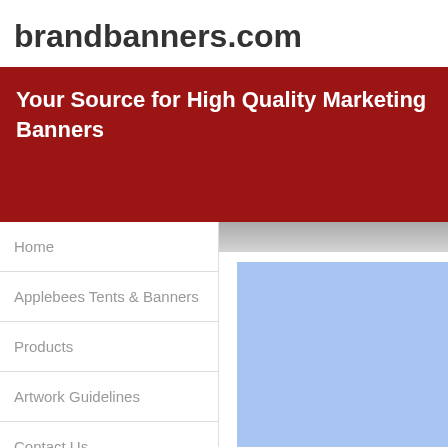brandbanners.com
[Figure (screenshot): Dark red hero banner area with white bold text reading 'Your Source for High Quality Marketing Banners']
Home
Applebees Tents & Banners
Products
Artwork Guidelines
Contact Us
[Figure (screenshot): Right content area showing a scrollbar at top and a light blue rectangular image below]